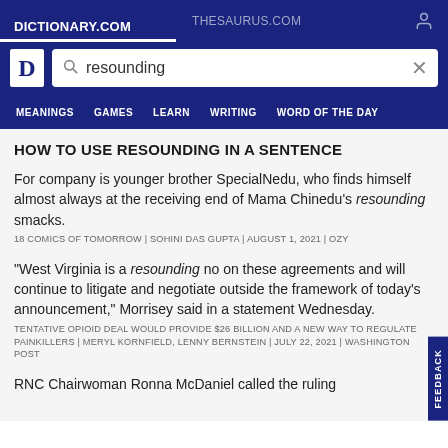DICTIONARY.COM   THESAURUS.COM
[Figure (screenshot): Dictionary.com logo D in white box, search bar with 'resounding' typed]
MEANINGS   GAMES   LEARN   WRITING   WORD OF THE DAY
HOW TO USE RESOUNDING IN A SENTENCE
For company is younger brother SpecialNedu, who finds himself almost always at the receiving end of Mama Chinedu's resounding smacks.
18 COMICS OF TOMORROW | SOHINI DAS GUPTA | AUGUST 1, 2021 | OZY
“West Virginia is a resounding no on these agreements and will continue to litigate and negotiate outside the framework of today’s announcement,” Morrisey said in a statement Wednesday.
TENTATIVE OPIOID DEAL WOULD PROVIDE $26 BILLION AND A NEW WAY TO REGULATE PAINKILLERS | MERYL KORNFIELD, LENNY BERNSTEIN | JULY 22, 2021 | WASHINGTON POST
RNC Chairwoman Ronna McDaniel called the ruling “a resounding victory for election integrity and the...